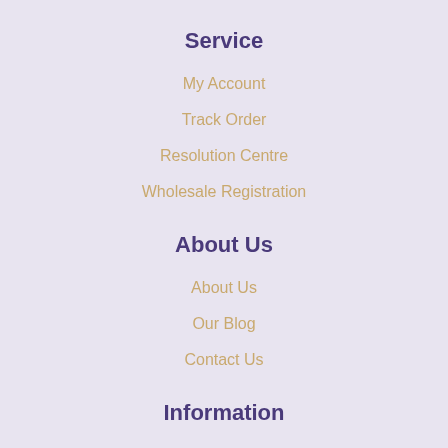Service
My Account
Track Order
Resolution Centre
Wholesale Registration
About Us
About Us
Our Blog
Contact Us
Information